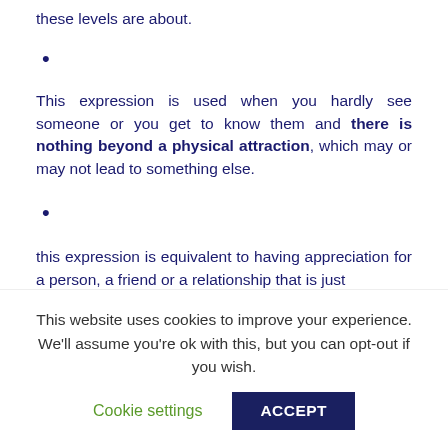these levels are about.
•
This expression is used when you hardly see someone or you get to know them and there is nothing beyond a physical attraction, which may or may not lead to something else.
•
this expression is equivalent to having appreciation for a person, a friend or a relationship that is just
This website uses cookies to improve your experience. We'll assume you're ok with this, but you can opt-out if you wish.
Cookie settings   ACCEPT